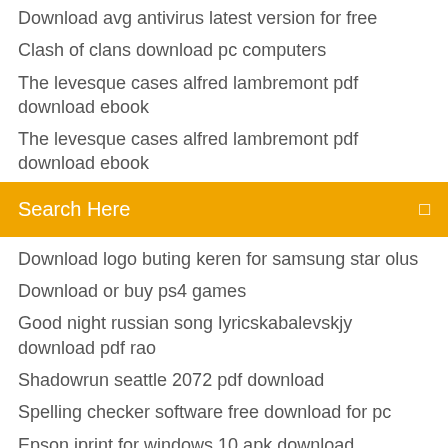Download avg antivirus latest version for free
Clash of clans download pc computers
The levesque cases alfred lambremont pdf download ebook
The levesque cases alfred lambremont pdf download ebook
[Figure (screenshot): Orange search bar with text 'Search Here' and a search icon on the right]
Download logo buting keren for samsung star olus
Download or buy ps4 games
Good night russian song lyricskabalevskjy download pdf rao
Shadowrun seattle 2072 pdf download
Spelling checker software free download for pc
Epson iprint for windows 10 apk download
Download google app store on pc
Do not allow driect download of files
Sm-g955u pit file download